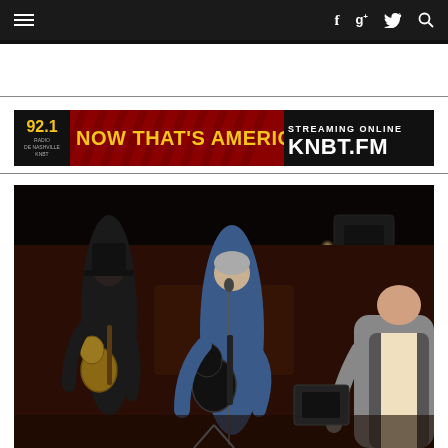Navigation bar with menu icon and social icons: Facebook, Google+, Twitter, Search
[Figure (photo): Dark photo visible at top of page behind navigation bar]
[Figure (photo): Advertisement banner for 92.1 KNBT.FM radio station — NOW THAT'S AMERICANA! STREAMING ONLINE KNBT.FM]
[Figure (photo): Concert photo of three musicians playing acoustic guitars on a dark stage, likely at Saxon Pub, with stage lighting]